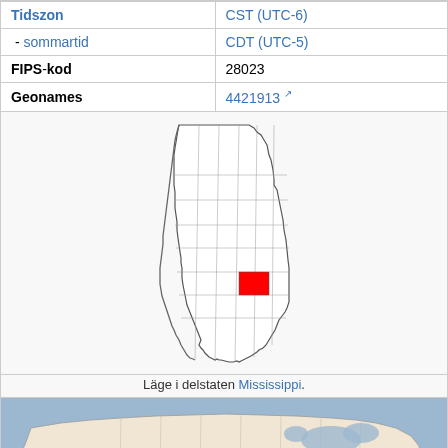| Tidszon | CST (UTC-6) |
| - sommartid | CDT (UTC-5) |
| FIPS-kod | 28023 |
| Geonames | 4421913 ↗ |
[Figure (map): Map of Mississippi state with one county highlighted in red, showing Clarke County location]
Läge i delstaten Mississippi.
[Figure (map): Map of the contiguous United States with Mississippi highlighted in red]